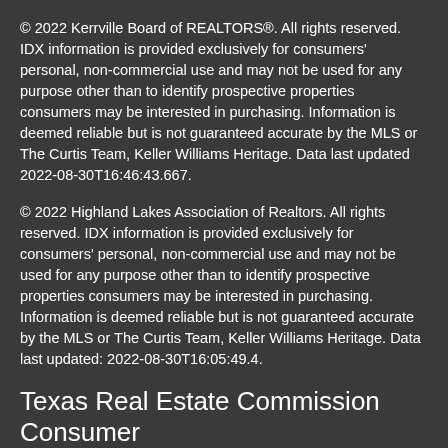© 2022 Kerrville Board of REALTORS®. All rights reserved. IDX information is provided exclusively for consumers' personal, non-commercial use and may not be used for any purpose other than to identify prospective properties consumers may be interested in purchasing. Information is deemed reliable but is not guaranteed accurate by the MLS or The Curtis Team, Keller Williams Heritage. Data last updated 2022-08-30T16:46:43.667.
© 2022 Highland Lakes Association of Realtors. All rights reserved. IDX information is provided exclusively for consumers' personal, non-commercial use and may not be used for any purpose other than to identify prospective properties consumers may be interested in purchasing. Information is deemed reliable but is not guaranteed accurate by the MLS or The Curtis Team, Keller Williams Heritage. Data last updated: 2022-08-30T16:05:49.4.
Texas Real Estate Commission Consumer
Protection Notice